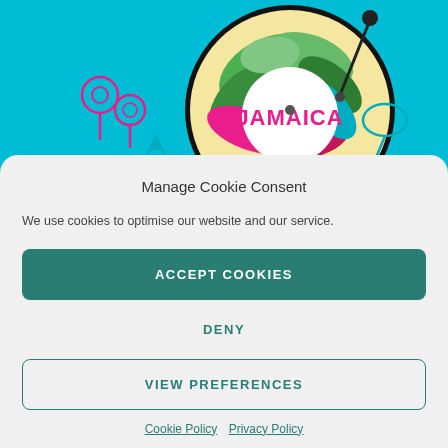[Figure (illustration): Colorful Jamaica board game or vinyl record illustration with tropical leaves and pink text 'JAMAICA', surrounded by food and music icons (maracas, chicken leg, fish, arrow graphics) on a teal/cyan background]
Manage Cookie Consent
We use cookies to optimise our website and our service.
ACCEPT COOKIES
DENY
VIEW PREFERENCES
Cookie Policy  Privacy Policy